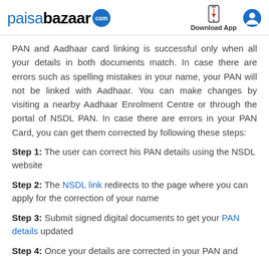paisabazaar.com | Download App
PAN and Aadhaar card linking is successful only when all your details in both documents match. In case there are errors such as spelling mistakes in your name, your PAN will not be linked with Aadhaar. You can make changes by visiting a nearby Aadhaar Enrolment Centre or through the portal of NSDL PAN. In case there are errors in your PAN Card, you can get them corrected by following these steps:
Step 1: The user can correct his PAN details using the NSDL website
Step 2: The NSDL link redirects to the page where you can apply for the correction of your name
Step 3: Submit signed digital documents to get your PAN details updated
Step 4: Once your details are corrected in your PAN and...